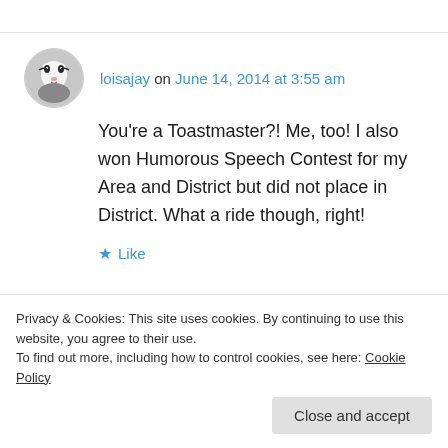loisajay on June 14, 2014 at 3:55 am
You're a Toastmaster?! Me, too! I also won Humorous Speech Contest for my Area and District but did not place in District. What a ride though, right!
★ Like
↪ Reply
[Figure (screenshot): Partial image strip showing dark banner and peach-colored thumbnail images]
Privacy & Cookies: This site uses cookies. By continuing to use this website, you agree to their use.
To find out more, including how to control cookies, see here: Cookie Policy
Close and accept